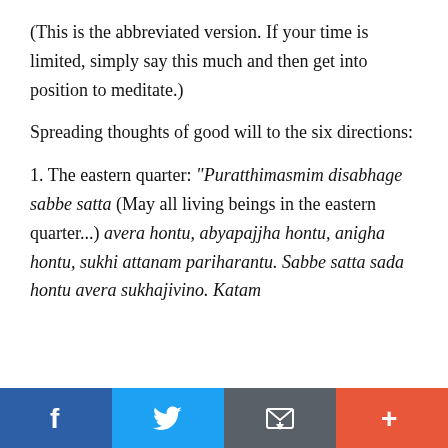(This is the abbreviated version. If your time is limited, simply say this much and then get into position to meditate.)
Spreading thoughts of good will to the six directions:
1. The eastern quarter: "Puratthimasmim disabhage sabbe satta (May all living beings in the eastern quarter...) avera hontu, abyapajjha hontu, anigha hontu, sukhi attanam pariharantu. Sabbe satta sada hontu avera sukhajivino. Katam
[Figure (other): Social media share bar with Facebook, Twitter, email, and plus/more buttons]